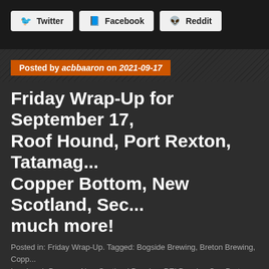[Figure (other): Social share buttons: Twitter, Facebook, Reddit]
Posted by acbbaaron on 2021-09-17
Friday Wrap-Up for September 17, Roof Hound, Port Rexton, Tatamagouche, Copper Bottom, New Scotland, Sec... much more!
Posted in: Friday Wrap-Up. Tagged: Bogside Brewing, Breton Brewing, Copp... Landwash Brewery, New Scotland Brewing, PEI Brewing Co., Port Rexton B... Hound Brewing, Secret Cove Brewery, Tapestry Beer Bar, Tatamagouche Bre... Brewing, Unfiltered Brewing. 1 comment
Fall is nearly here, so that means a few things are here with certa... and rising COVID-19 cases. As we get excited for new releases a... see rising cases and lockdowns in Alberta. Make sure to enjoy wh... friends and family and remember to check out all of the latest rest...